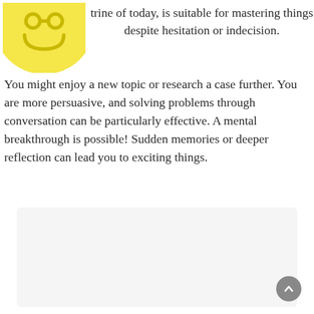[Figure (illustration): Partial yellow circular icon with a Gemini/person symbol visible at top-left of the page]
trine of today, is suitable for mastering things despite hesitation or indecision. You might enjoy a new topic or research a case further. You are more persuasive, and solving problems through conversation can be particularly effective. A mental breakthrough is possible! Sudden memories or deeper reflection can lead you to exciting things.
[Figure (other): Light gray rounded rectangle box occupying the lower portion of the page]